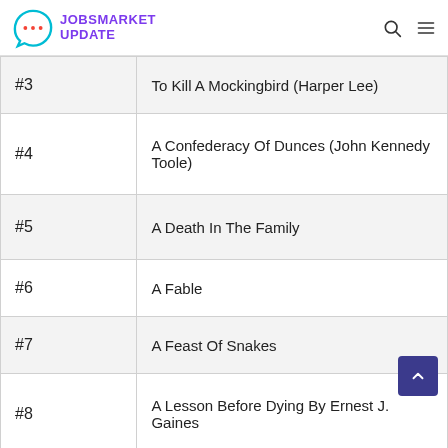JOBSMARKET UPDATE
| Rank | Title |
| --- | --- |
| #3 | To Kill A Mockingbird (Harper Lee) |
| #4 | A Confederacy Of Dunces (John Kennedy Toole) |
| #5 | A Death In The Family |
| #6 | A Fable |
| #7 | A Feast Of Snakes |
| #8 | A Lesson Before Dying By Ernest J. Gaines |
| #9 | A Place On Earth |